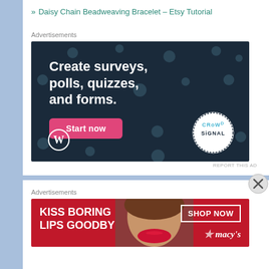» Daisy Chain Beadweaving Bracelet – Etsy Tutorial
Advertisements
[Figure (screenshot): Advertisement for Crowdsignal: dark navy background with polka dots. Text reads 'Create surveys, polls, quizzes, and forms.' with a pink 'Start now' button, WordPress logo bottom left, and Crowdsignal circular badge bottom right.]
REPORT THIS AD
Advertisements
[Figure (screenshot): Macy's advertisement banner: red background with 'KISS BORING LIPS GOODBYE' text on left, image of woman's lips in center, 'SHOP NOW' button and Macy's star logo on right.]